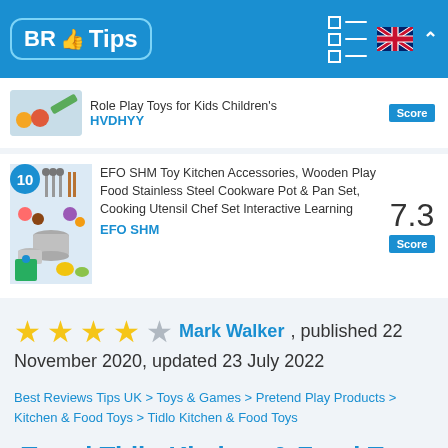BR Tips
[Figure (screenshot): Partial product listing: Role Play Toys for Kids Children's by HVDHYY with Score label]
Role Play Toys for Kids Children's
HVDHYY
[Figure (photo): EFO SHM Toy Kitchen Accessories product image showing pots, pans, utensils, and vegetables, ranked #10]
EFO SHM Toy Kitchen Accessories, Wooden Play Food Stainless Steel Cookware Pot & Pan Set, Cooking Utensil Chef Set Interactive Learning
EFO SHM
7.3
Score
★★★★☆ Mark Walker, published 22 November 2020, updated 23 July 2022
Best Reviews Tips UK > Toys & Games > Pretend Play Products > Kitchen & Food Toys > Tidlo Kitchen & Food Toys
Trend Tidlo Kitchen & Food Toys